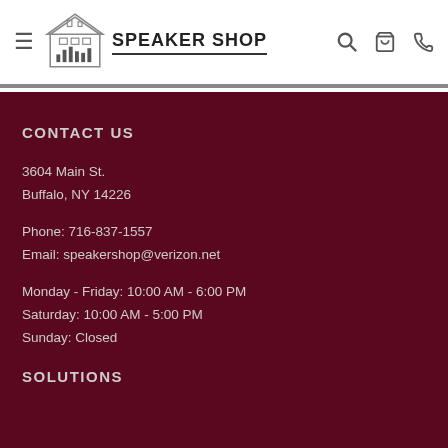[Figure (logo): Speaker Shop logo with building icon and text SPEAKER SHOP]
CONTACT US
3604 Main St.
Buffalo, NY 14226
Phone: 716-837-1557
Email: speakershop@verizon.net
Monday - Friday: 10:00 AM - 6:00 PM
Saturday: 10:00 AM - 5:00 PM
Sunday: Closed
SOLUTIONS